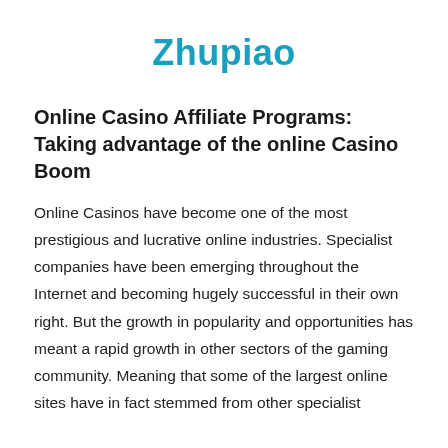Zhupiao
Online Casino Affiliate Programs: Taking advantage of the online Casino Boom
Online Casinos have become one of the most prestigious and lucrative online industries. Specialist companies have been emerging throughout the Internet and becoming hugely successful in their own right. But the growth in popularity and opportunities has meant a rapid growth in other sectors of the gaming community. Meaning that some of the largest online sites have in fact stemmed from other specialist